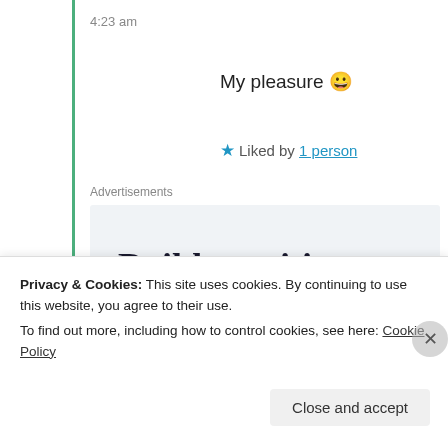4:23 am
My pleasure 😀
★ Liked by 1 person
Advertisements
[Figure (other): Advertisement banner with text: Build a writing habit. Post on the go.]
Privacy & Cookies: This site uses cookies. By continuing to use this website, you agree to their use.
To find out more, including how to control cookies, see here: Cookie Policy
Close and accept